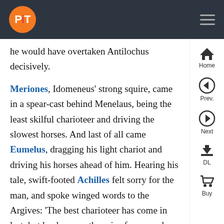PiT [logo] [hamburger menu]
he would have overtaken Antilochus decisively.
Meriones, Idomeneus' strong squire, came in a spear-cast behind Menelaus, being the least skilful charioteer and driving the slowest horses. And last of all came Eumelus, dragging his light chariot and driving his horses ahead of him. Hearing his tale, swift-footed Achilles felt sorry for the man, and spoke winged words to the Argives: 'The best charioteer has come in last, but he deserves the prize for second place, given Diomedes has won the first.'
The Achaeans shouted their agreement, and he